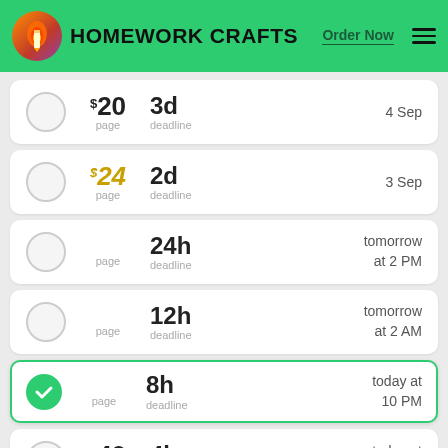HOMEWORK CRAFTS — Order Now
$20 / page, 3d deadline, 4 Sep
$24 / page, 2d deadline, 3 Sep
24h deadline, tomorrow at 2 PM
12h deadline, tomorrow at 2 AM
8h deadline, today at 10 PM (selected)
$40 / page, 4h deadline, today at 6 PM